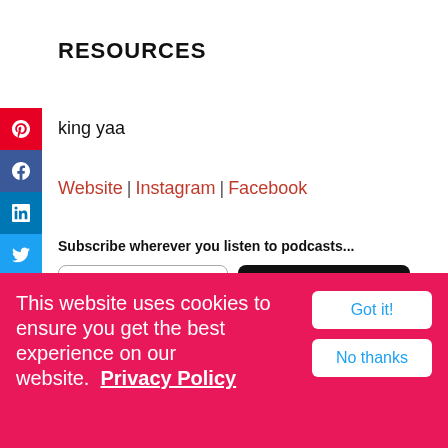RESOURCES
king yaa
Website | Instagram | Facebook
Subscribe wherever you listen to podcasts...
[Figure (logo): Listen on Apple Podcasts badge]
[Figure (logo): Listen on Google Play Music badge]
This website uses cookies to ensure you get the best experience on our website.  Privacy Policy